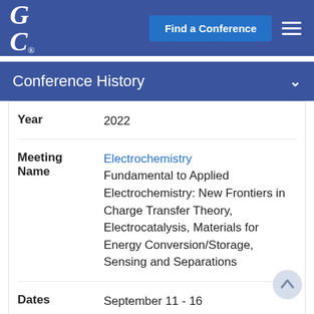GRC® | Find a Conference
Conference History
| Field | Value |
| --- | --- |
| Year | 2022 |
| Meeting Name | Electrochemistry
Fundamental to Applied Electrochemistry: New Frontiers in Charge Transfer Theory, Electrocatalysis, Materials for Energy Conversion/Storage, Sensing and Separations |
| Dates | September 11 - 16 |
| Location |  |